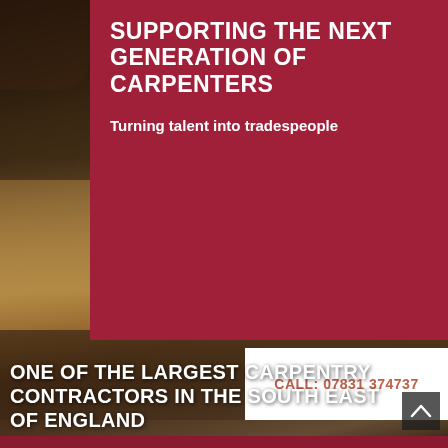[Figure (photo): Background photo of wood planks/carpentry materials with dark warm tones, hands visible at top left]
SUPPORTING THE NEXT GENERATION OF CARPENTERS
Turning talent into tradespeople
CALL: 07831 374737
ONE OF THE LARGEST CARPENTRY CONTRACTORS IN THE SOUTH EAST OF ENGLAND